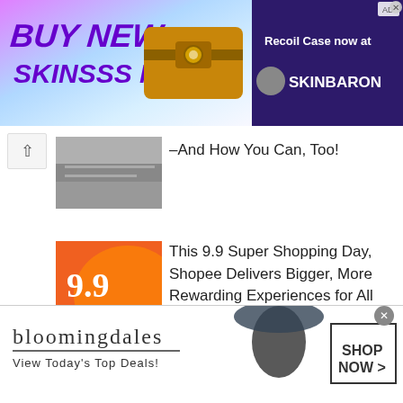[Figure (screenshot): Banner ad: BUY NEW SKINSSS NOW with a golden chest, and SkinBaron Recoil Case now available]
[Figure (photo): Road/surface photo thumbnail for article about skating or transport]
–And How You Can, Too!
[Figure (photo): Shopee 9.9 Super Shopping Day promotional graphic with orange background]
This 9.9 Super Shopping Day, Shopee Delivers Bigger, More Rewarding Experiences for All Filipinos
[Figure (photo): Young man looking at phone near window]
Feeling Lucky? Shop Exciting Promos and Freebies at the OPPO 8.8 Brand Day Sale!
[Figure (screenshot): Bloomingdales ad: View Today's Top Deals! SHOP NOW >]